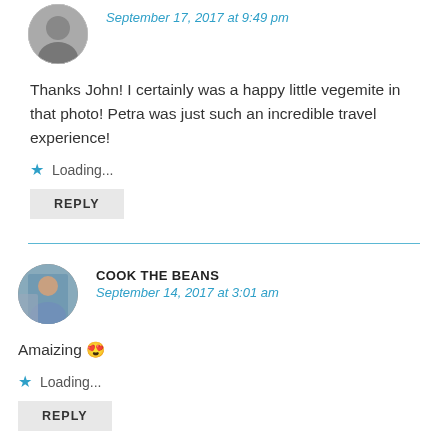[Figure (photo): Circular avatar photo of a person, partially visible at top of page]
September 17, 2017 at 9:49 pm
Thanks John! I certainly was a happy little vegemite in that photo! Petra was just such an incredible travel experience!
Loading...
REPLY
[Figure (photo): Circular avatar photo of a woman sitting, COOK THE BEANS commenter]
COOK THE BEANS
September 14, 2017 at 3:01 am
Amaizing 😍
Loading...
REPLY